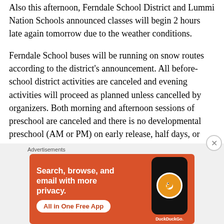Also this afternoon, Ferndale School District and Lummi Nation Schools announced classes will begin 2 hours late again tomorrow due to the weather conditions.
Ferndale School buses will be running on snow routes according to the district's announcement. All before-school district activities are canceled and evening activities will proceed as planned unless cancelled by organizers. Both morning and afternoon sessions of preschool are canceled and there is no developmental preschool (AM or PM) on early release, half days, or delayed start days.
[Figure (other): DuckDuckGo advertisement banner with orange background showing phone mockup. Text reads: Search, browse, and email with more privacy. All in One Free App. DuckDuckGo.]